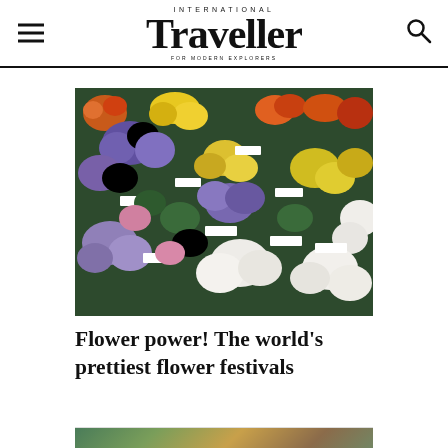INTERNATIONAL Traveller FOR MODERN EXPLORERS
[Figure (photo): Overhead view of a colourful display of potted flowering plants including purple, yellow, white, orange and pink flowers with small identification labels, at a flower festival or garden show.]
Flower power! The world's prettiest flower festivals
[Figure (photo): Partial view of a second flower festival image, cropped at bottom of page.]